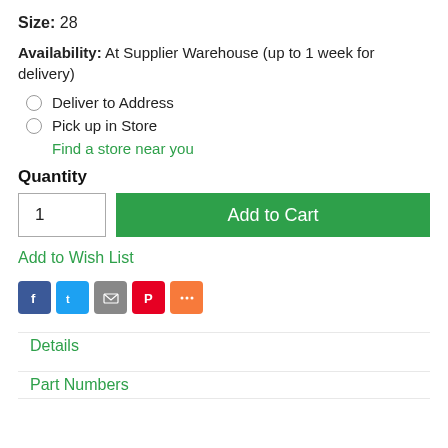Size: 28
Availability: At Supplier Warehouse (up to 1 week for delivery)
Deliver to Address
Pick up in Store
Find a store near you
Quantity
1
Add to Cart
Add to Wish List
[Figure (other): Social sharing icons: Facebook, Twitter, Email, Pinterest, More]
Details
Part Numbers